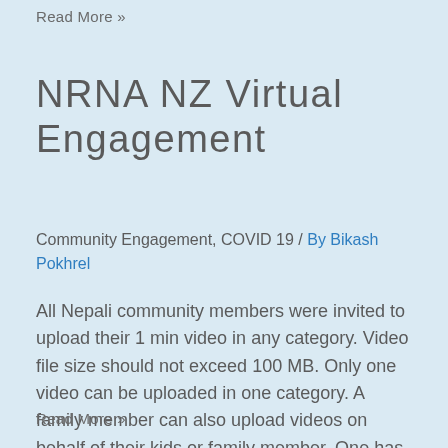Read More »
NRNA NZ Virtual Engagement
Community Engagement, COVID 19 / By Bikash Pokhrel
All Nepali community members were invited to upload their 1 min video in any category. Video file size should not exceed 100 MB. Only one video can be uploaded in one category. A family member can also upload videos on behalf of their kids or family member. One has to log in it to your …
Read More »